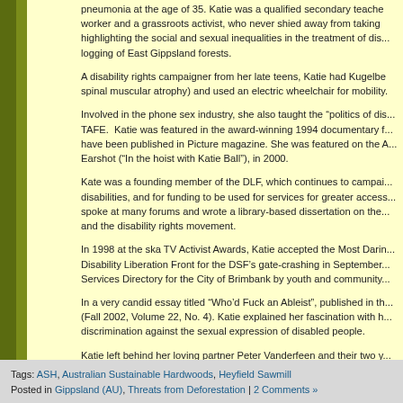pneumonia at the age of 35. Katie was a qualified secondary teacher, community worker and a grassroots activist, who never shied away from taking on causes, highlighting the social and sexual inequalities in the treatment of disabled, and the logging of East Gippsland forests.
A disability rights campaigner from her late teens, Katie had Kugelberg disease (spinal muscular atrophy) and used an electric wheelchair for mobility.
Involved in the phone sex industry, she also taught the "politics of disability" at TAFE. Katie was featured in the award-winning 1994 documentary f... have been published in Picture magazine. She was featured on the ABC program Earshot ("In the hoist with Katie Ball"), in 2000.
Kate was a founding member of the DLF, which continues to campaign for people with disabilities, and for funding to be used for services for greater access and inclusion. She spoke at many forums and wrote a library-based dissertation on the history of Australia and the disability rights movement.
In 1998 at the ska TV Activist Awards, Katie accepted the Most Daring Action Award for Disability Liberation Front for the DSF's gate-crashing in September... Services Directory for the City of Brimbank by youth and community...
In a very candid essay titled "Who'd Fuck an Ableist", published in the... (Fall 2002, Volume 22, No. 4). Katie explained her fascination with highlighting discrimination against the sexual expression of disabled people.
Katie left behind her loving partner Peter Vanderfeen and their two y... remembered, missed and celebrated by many people in the social ch... worked with and inspired.>>
Source:  Green Left Weekly, July 7, 2004.
Tags: ASH, Australian Sustainable Hardwoods, Heyfield Sawmill
Posted in Gippsland (AU), Threats from Deforestation | 2 Comments »